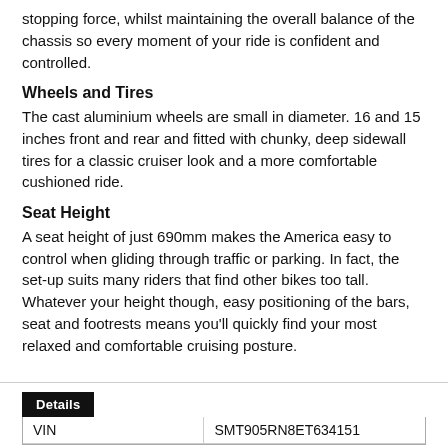stopping force, whilst maintaining the overall balance of the chassis so every moment of your ride is confident and controlled.
Wheels and Tires
The cast aluminium wheels are small in diameter. 16 and 15 inches front and rear and fitted with chunky, deep sidewall tires for a classic cruiser look and a more comfortable cushioned ride.
Seat Height
A seat height of just 690mm makes the America easy to control when gliding through traffic or parking. In fact, the set-up suits many riders that find other bikes too tall. Whatever your height though, easy positioning of the bars, seat and footrests means you'll quickly find your most relaxed and comfortable cruising posture.
| VIN |  |
| --- | --- |
| VIN | SMT905RN8ET634151 |